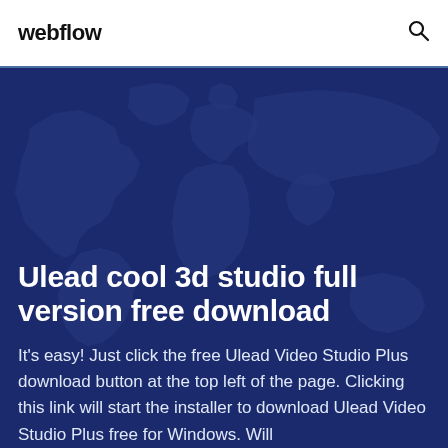webflow
[Figure (illustration): World map silhouette on dark blue background used as hero background image]
Ulead cool 3d studio full version free download
It's easy! Just click the free Ulead Video Studio Plus download button at the top left of the page. Clicking this link will start the installer to download Ulead Video Studio Plus free for Windows. Will